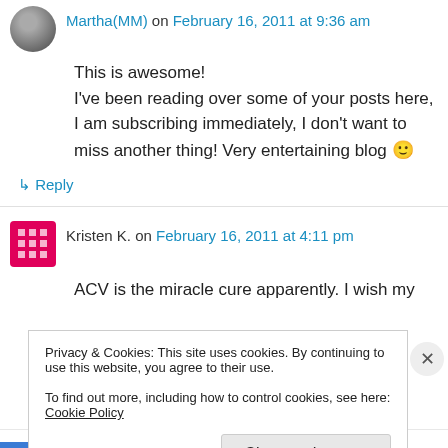Martha(MM) on February 16, 2011 at 9:36 am
This is awesome! I've been reading over some of your posts here, I am subscribing immediately, I don't want to miss another thing! Very entertaining blog 🙂
↳ Reply
Kristen K. on February 16, 2011 at 4:11 pm
ACV is the miracle cure apparently. I wish my
Privacy & Cookies: This site uses cookies. By continuing to use this website, you agree to their use. To find out more, including how to control cookies, see here: Cookie Policy
Close and accept